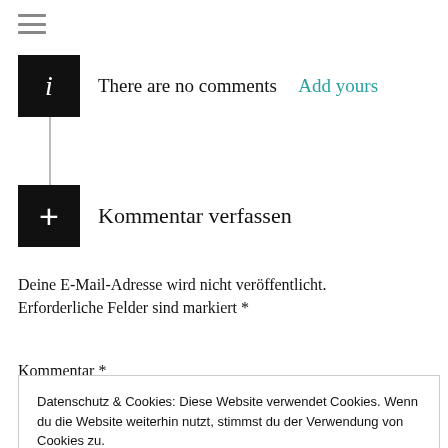[Figure (other): Hamburger menu icon (three horizontal lines)]
There are no comments  Add yours
Kommentar verfassen
Deine E-Mail-Adresse wird nicht veröffentlicht. Erforderliche Felder sind markiert *
Kommentar *
Datenschutz & Cookies: Diese Website verwendet Cookies. Wenn du die Website weiterhin nutzt, stimmst du der Verwendung von Cookies zu.
Weitere Informationen, beispielsweise zur Kontrolle von Cookies, findest du hier: Cookie-Richtlinie
Schließen und Akzeptieren